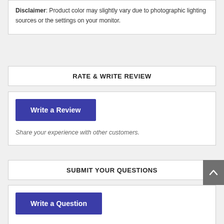Disclaimer: Product color may slightly vary due to photographic lighting sources or the settings on your monitor.
RATE & WRITE REVIEW
Write a Review
Share your experience with other customers.
SUBMIT YOUR QUESTIONS
Write a Question